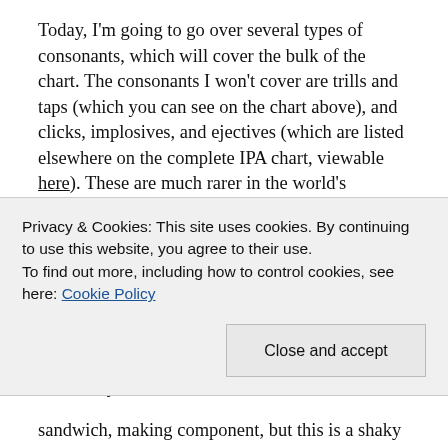Today, I'm going to go over several types of consonants, which will cover the bulk of the chart. The consonants I won't cover are trills and taps (which you can see on the chart above), and clicks, implosives, and ejectives (which are listed elsewhere on the complete IPA chart, viewable here). These are much rarer in the world's languages and, wouldn't you know it, a bit trickier to grapple with. The sounds I will cover are all present in English, and that's where I'll be pulling my examples from. This is not because English is somehow more exemplary than other languages, but I'm writing in English, so I assume you, my trusty reader have at least some familiarity with it.
Privacy & Cookies: This site uses cookies. By continuing to use this website, you agree to their use.
To find out more, including how to control cookies, see here: Cookie Policy
sandwich, making component, but this is a shaky